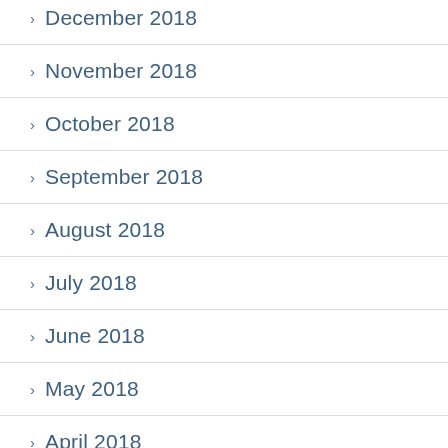> December 2018
> November 2018
> October 2018
> September 2018
> August 2018
> July 2018
> June 2018
> May 2018
> April 2018